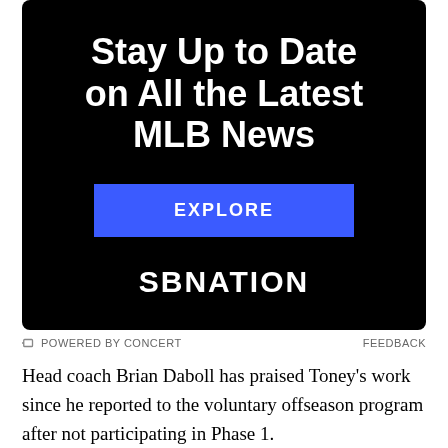[Figure (other): SBNation advertisement banner with black background. Title: 'Stay Up to Date on All the Latest MLB News', a blue 'EXPLORE' button, and 'SBNATION' logo in white text.]
POWERED BY CONCERT   FEEDBACK
Head coach Brian Daboll has praised Toney's work since he reported to the voluntary offseason program after not participating in Phase 1.
“I really like him. He’s smart. Again, you’re not really — you’re doing things. A lot of them on air and stuff like